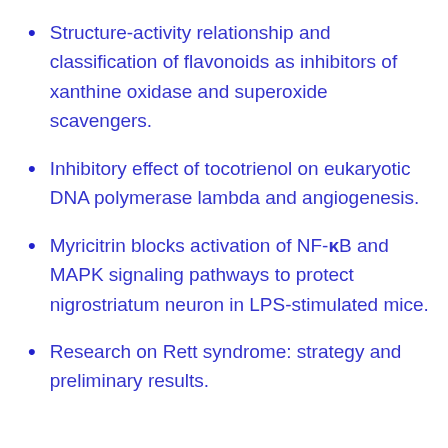Structure-activity relationship and classification of flavonoids as inhibitors of xanthine oxidase and superoxide scavengers.
Inhibitory effect of tocotrienol on eukaryotic DNA polymerase lambda and angiogenesis.
Myricitrin blocks activation of NF-κB and MAPK signaling pathways to protect nigrostriatum neuron in LPS-stimulated mice.
Research on Rett syndrome: strategy and preliminary results.